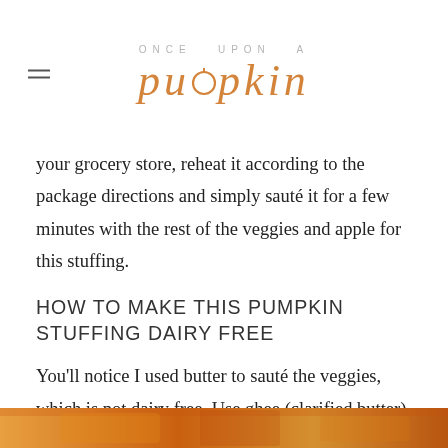ONCE UPON A pumpkin
your grocery store, reheat it according to the package directions and simply sauté it for a few minutes with the rest of the veggies and apple for this stuffing.
HOW TO MAKE THIS PUMPKIN STUFFING DAIRY FREE
You'll notice I used butter to sauté the veggies, which is not dairy free. Use ghee (clarified butter) instead to make this stuffing recipe dairy free and equally as delicious!
[Figure (photo): Bottom strip showing orange/amber colored food photo, likely pumpkin stuffing]